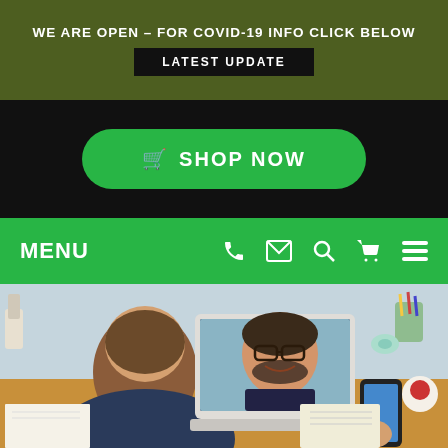WE ARE OPEN – FOR COVID-19 INFO CLICK BELOW
LATEST UPDATE
🛒 SHOP NOW
MENU
[Figure (screenshot): Website navigation bar with phone, email, search, cart, and hamburger menu icons in white on green background]
[Figure (photo): Person sitting at a wooden desk seen from behind, looking at a laptop screen showing a video call with a smiling man wearing glasses. The person holds a smartphone in their right hand. Office supplies visible in the background.]